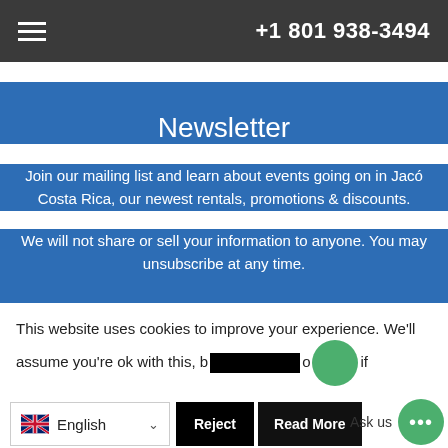+1 801 938-3494
Newsletter
Join our mailing list and learn about events going on in Jacó Costa Rica, our newest rentals, promotions & discounts.
We will not share or sell your information to anyone. You may unsubscribe at any time.
This website uses cookies to improve your experience. We'll assume you're ok with this, b  or  if
English
Ask us
Reject
Read More